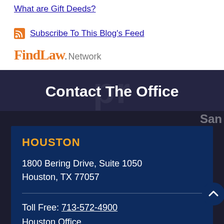What are Gift Deeds?
Subscribe To This Blog's Feed
FindLaw. Network
Contact The Office
HOUSTON
1800 Bering Drive, Suite 1050
Houston, TX 77057
Toll Free: 713-572-4900
Houston Office